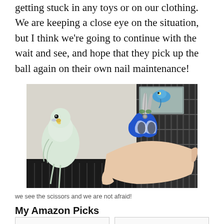getting stuck in any toys or on our clothing. We are keeping a close eye on the situation, but I think we're going to continue with the wait and see, and hope that they pick up the ball again on their own nail maintenance!
[Figure (photo): A hand holding blue-handled scissors/nail clippers near a white/green budgie parakeet perched on a black cage, with another blue budgie visible in a mirror or cage in the background.]
we see the scissors and we are not afraid!
My Amazon Picks